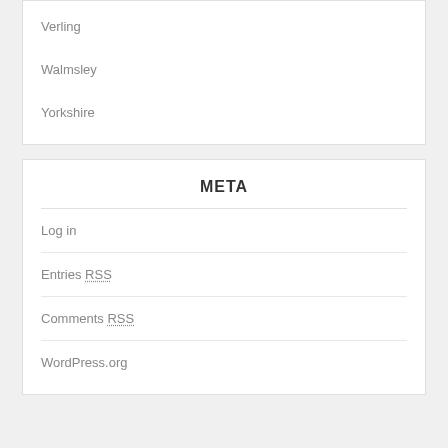Verling
Walmsley
Yorkshire
META
Log in
Entries RSS
Comments RSS
WordPress.org